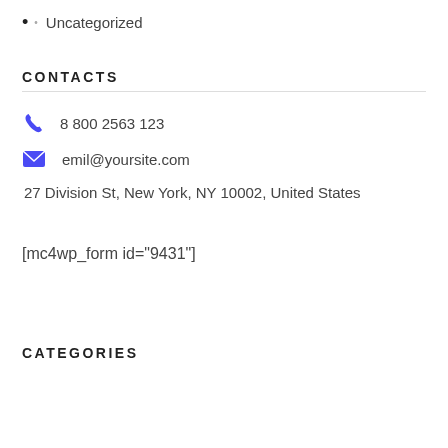Uncategorized
CONTACTS
8 800 2563 123
emil@yoursite.com
27 Division St, New York, NY 10002, United States
[mc4wp_form id="9431"]
CATEGORIES